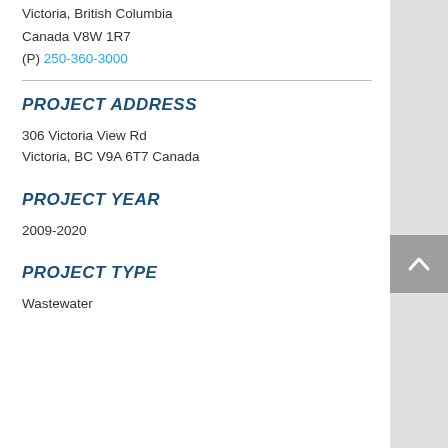Victoria, British Columbia
Canada V8W 1R7
(P) 250-360-3000
PROJECT ADDRESS
306 Victoria View Rd
Victoria, BC V9A 6T7 Canada
PROJECT YEAR
2009-2020
PROJECT TYPE
Wastewater